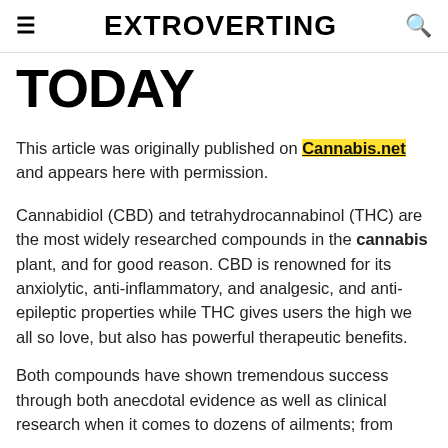≡  EXTROVERTING  🔍
TODAY
This article was originally published on Cannabis.net and appears here with permission.
Cannabidiol (CBD) and tetrahydrocannabinol (THC) are the most widely researched compounds in the cannabis plant, and for good reason. CBD is renowned for its anxiolytic, anti-inflammatory, and analgesic, and anti-epileptic properties while THC gives users the high we all so love, but also has powerful therapeutic benefits.
Both compounds have shown tremendous success through both anecdotal evidence as well as clinical research when it comes to dozens of ailments; from